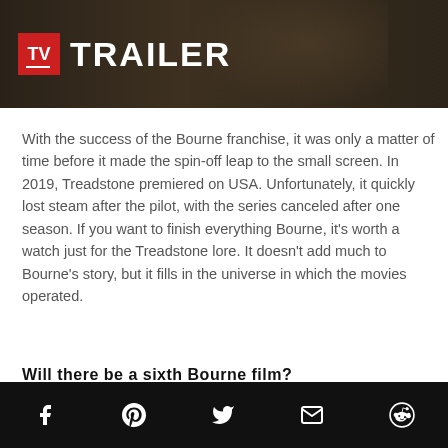[Figure (screenshot): Dark video thumbnail banner showing TV Insider logo (red square with white TV text) and TRAILER text in white on dark background with a blurred figure behind]
With the success of the Bourne franchise, it was only a matter of time before it made the spin-off leap to the small screen. In 2019, Treadstone premiered on USA. Unfortunately, it quickly lost steam after the pilot, with the series canceled after one season. If you want to finish everything Bourne, it's worth a watch just for the Treadstone lore. It doesn't add much to Bourne's story, but it fills in the universe in which the movies operated.
Will there be a sixth Bourne film?
Social share icons: Facebook, Pinterest, Twitter, Email, Reddit